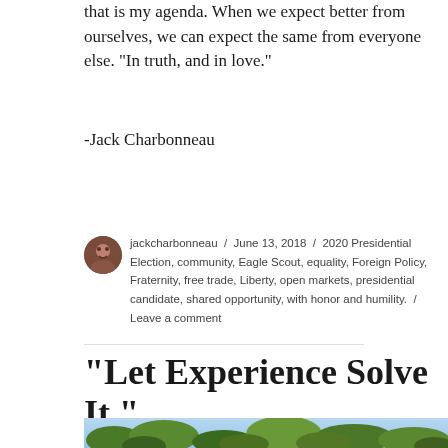that is my agenda. When we expect better from ourselves, we can expect the same from everyone else. “In truth, and in love.”
-Jack Charbonneau
jackcharbonneau / June 13, 2018 / 2020 Presidential Election, community, Eagle Scout, equality, Foreign Policy, Fraternity, free trade, Liberty, open markets, presidential candidate, shared opportunity, with honor and humility. / Leave a comment
“Let Experience Solve It.”
[Figure (photo): Outdoor photo showing green tree foliage against bright sky from below]